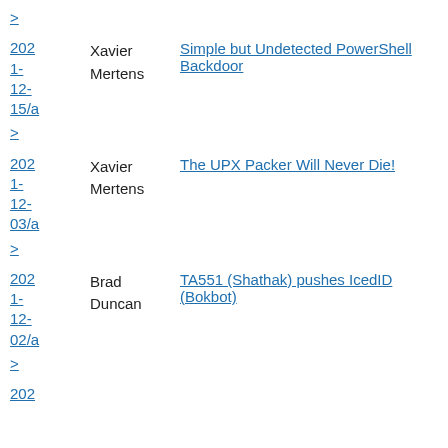>
2021-12-15/a | Xavier Mertens | Simple but Undetected PowerShell Backdoor
>
2021-12-03/a | Xavier Mertens | The UPX Packer Will Never Die!
>
2021-12-02/a | Brad Duncan | TA551 (Shathak) pushes IcedID (Bokbot)
>
202